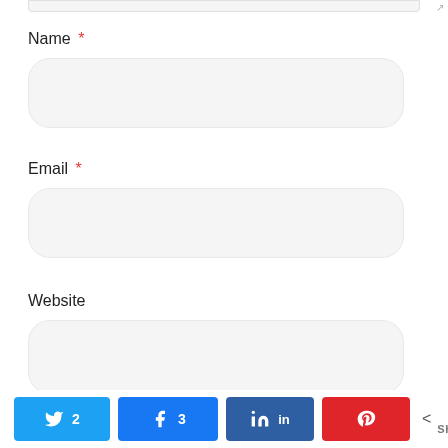Name *
[Figure (screenshot): Empty rounded input field for Name]
Email *
[Figure (screenshot): Empty rounded input field for Email]
Website
[Figure (screenshot): Empty rounded input field for Website]
[Figure (infographic): Social share bar with Twitter (2), Facebook (3), LinkedIn, Pinterest buttons and 5 SHARES total]